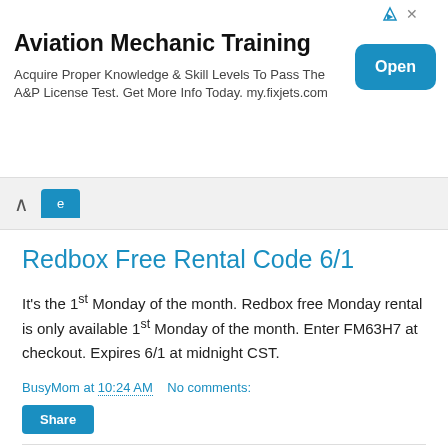[Figure (infographic): Advertisement banner for Aviation Mechanic Training with an Open button]
BusyMom at 10:24 AM   No comments:
Redbox Free Rental Code 6/1
It's the 1st Monday of the month. Redbox free Monday rental is only available 1st Monday of the month. Enter FM63H7 at checkout. Expires 6/1 at midnight CST.
BusyMom at 10:24 AM   No comments:
Coupons